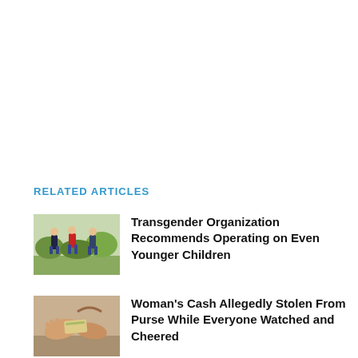RELATED ARTICLES
[Figure (photo): Children running outdoors in a field]
Transgender Organization Recommends Operating on Even Younger Children
[Figure (photo): Hands holding a purse or cash]
Woman's Cash Allegedly Stolen From Purse While Everyone Watched and Cheered